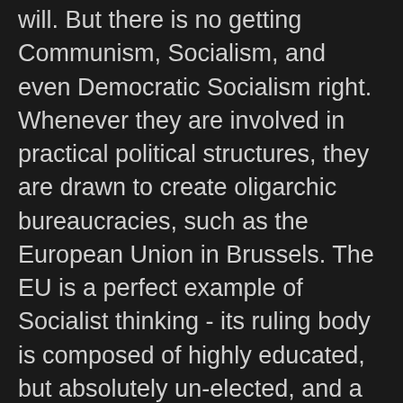will. But there is no getting Communism, Socialism, and even Democratic Socialism right. Whenever they are involved in practical political structures, they are drawn to create oligarchic bureaucracies, such as the European Union in Brussels. The EU is a perfect example of Socialist thinking - its ruling body is composed of highly educated, but absolutely un-elected, and a mostly faceless bunch of politicos, who live the high life while distributing other peoples money. In historically full Communist states, such as Cuba and Russia, Communist Party members prospered while the common people lived in misery. Add to it if you complain about the system, you were either imprisoned or shot by Che or Josef's firing squads, especially when being of African descent or Jewish.
India flirted with Socialism for nearly a century, and China went Communist about 70 years ago. Yet, until their governments embraced Capitalism, they were incapable of eradicating the rampant poverty that plagued their nations. On the other hand, South American countries swung back and forth from authoritarian military dictatorships to Socialist and Communist governments, and the people suffered either